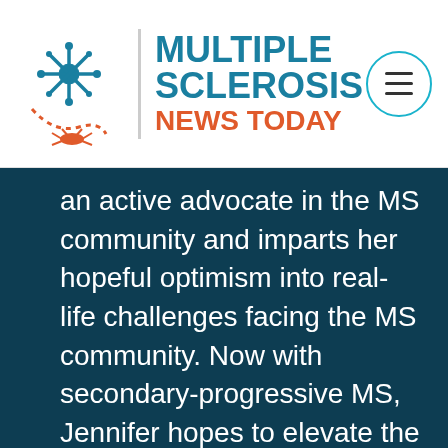MULTIPLE SCLEROSIS NEWS TODAY
an active advocate in the MS community and imparts her hopeful optimism into real-life challenges facing the MS community. Now with secondary-progressive MS, Jennifer hopes to elevate the patient voice to better the lives of those living with the disease. Prior to writing her column, Jennifer freelanced for several online periodicals. When not writing, Jennifer enjoys volunteering with animal rescue, traveling, and spending time at home in Orange County,